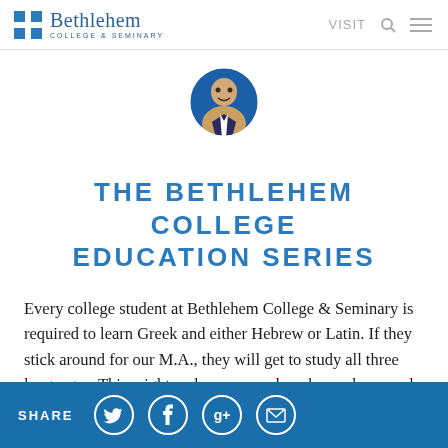Bethlehem COLLEGE & SEMINARY | VISIT
[Figure (photo): Circular profile photo of a smiling young man in a suit against a blue background]
THE BETHLEHEM COLLEGE EDUCATION SERIES
Every college student at Bethlehem College & Seminary is required to learn Greek and either Hebrew or Latin. If they stick around for our M.A., they will get to study all three languages. This might make you wonder why we have such an
SHARE